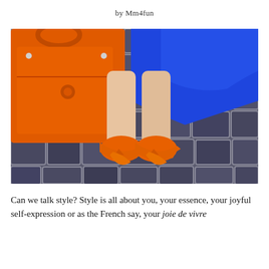by Mm4fun
[Figure (photo): Overhead/top-down view of a woman standing on cobblestone pavement wearing a royal blue coat/skirt, orange pointed-toe heels, and holding an orange handbag.]
Can we talk style? Style is all about you, your essence, your joyful self-expression or as the French say, your joie de vivre